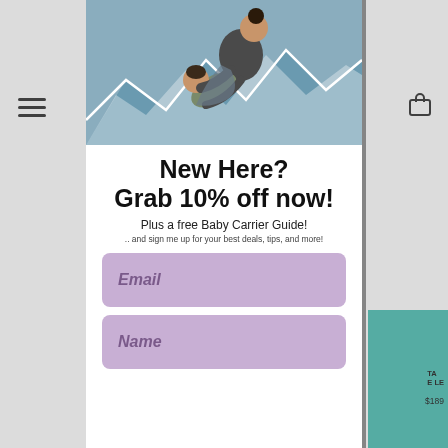[Figure (photo): Woman holding a baby in a wrap carrier against a mountain-mural background]
New Here?
Grab 10% off now!
Plus a free Baby Carrier Guide!
.. and sign me up for your best deals, tips, and more!
Email
Name